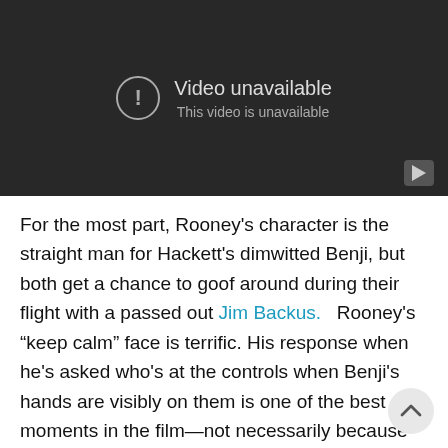[Figure (screenshot): YouTube video embed showing 'Video unavailable. This video is unavailable.' message on dark background with YouTube logo/play button in bottom right corner.]
For the most part, Rooney's character is the straight man for Hackett's dimwitted Benji, but both get a chance to goof around during their flight with a passed out Jim Backus.   Rooney's “keep calm” face is terrific. His response when he's asked who's at the controls when Benji's hands are visibly on them is one of the best moments in the film—not necessarily because the line that funny or unexpected, but because of Rooney's delivery, the sound of his voice, which emits all of the emotions someone in his situation might have but at a